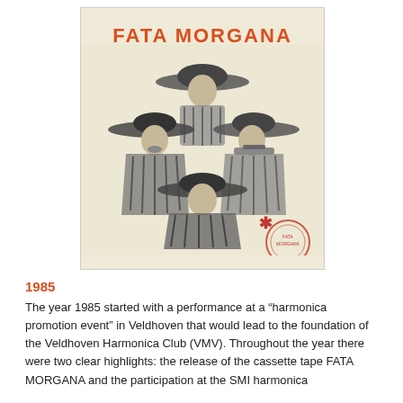[Figure (photo): Album/cassette cover for FATA MORGANA showing three people dressed in sombreros and ponchos in a vintage black-and-white photograph on a cream/beige background. The title 'FATA MORGANA' appears in bold red/orange text at the top. A red circular stamp appears in the lower right corner.]
1985
The year 1985 started with a performance at a “harmonica promotion event” in Veldhoven that would lead to the foundation of the Veldhoven Harmonica Club (VMV). Throughout the year there were two clear highlights: the release of the cassette tape FATA MORGANA and the participation at the SMI harmonica